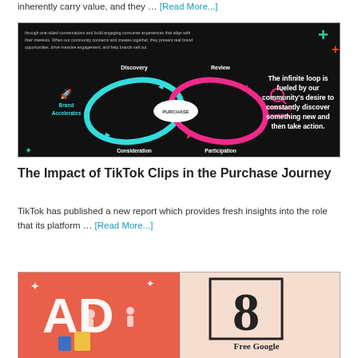inherently carry value, and they … [Read More...]
[Figure (infographic): TikTok infinite loop diagram on black background showing Discovery (blue loop), Review (pink loop), PURCHASE center, Brand Accelerates, Community Amplifies labels, and Consideration/Participation labels. Right side text: 'The infinite loop is fueled by our community's desire to constantly discover something new and then take action.']
The Impact of TikTok Clips in the Purchase Journey
TikTok has published a new report which provides fresh insights into the role that its platform … [Read More...]
[Figure (illustration): Colorful illustration with 'AD' text on coral/red background with small figures, and a large number 8 in a box on a lighter background with 'Free Google' text below.]